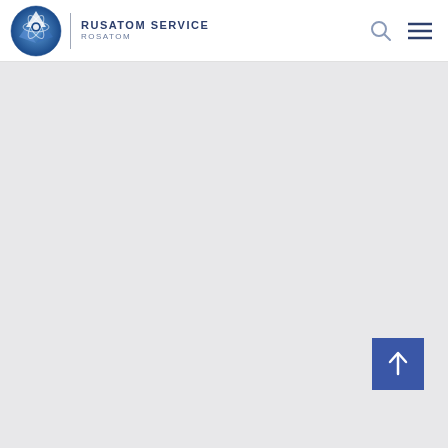RUSATOM SERVICE ROSATOM
[Figure (other): Large light grey content area placeholder below the navigation header]
[Figure (other): Blue scroll-to-top button with upward arrow icon in bottom right of content area]